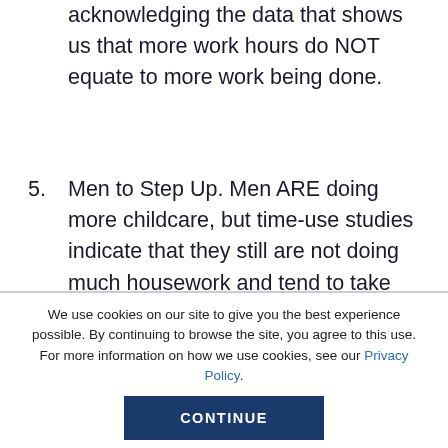acknowledging the data that shows us that more work hours do NOT equate to more work being done.
5. Men to Step Up. Men ARE doing more childcare, but time-use studies indicate that they still are not doing much housework and tend to take the “fun” tasks of parenting. Needless to say, most
We use cookies on our site to give you the best experience possible. By continuing to browse the site, you agree to this use. For more information on how we use cookies, see our Privacy Policy.
CONTINUE